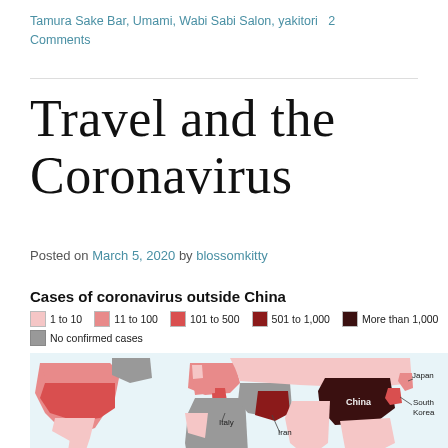Tamura Sake Bar, Umami, Wabi Sabi Salon, yakitori  2 Comments
Travel and the Coronavirus
Posted on March 5, 2020 by blossomkitty
[Figure (map): World map showing cases of coronavirus outside China. Legend: 1 to 10 (light pink), 11 to 100 (medium pink), 101 to 500 (medium red), 501 to 1,000 (dark red), More than 1,000 (very dark/maroon), No confirmed cases (gray). Countries labeled: Italy, Iran, China, Japan, South Korea.]